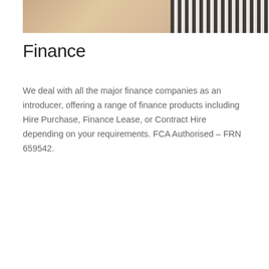[Figure (photo): Hands of a person wearing a striped shirt writing on a clipboard/notepad at a desk with a laptop]
Finance
We deal with all the major finance companies as an introducer, offering a range of finance products including Hire Purchase, Finance Lease, or Contract Hire depending on your requirements. FCA Authorised – FRN 659542.
This website uses cookies. Please refer to our privacy policy for full details. Learn more
Continue
[Figure (photo): Partial view of a car interior, dark tones]